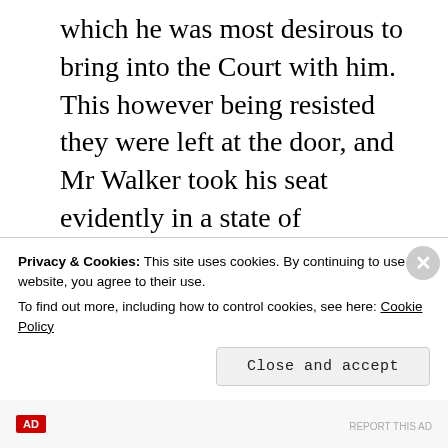which he was most desirous to bring into the Court with him. This however being resisted they were left at the door, and Mr Walker took his seat evidently in a state of intoxication bordering on stupidity so at not even to recognise his first Lieutenant Mr. Marshall who was sitting at his side, seeing the disgraceful condition of the Commandant the Board requested him to retire, this however he
Privacy & Cookies: This site uses cookies. By continuing to use this website, you agree to their use. To find out more, including how to control cookies, see here: Cookie Policy
Close and accept